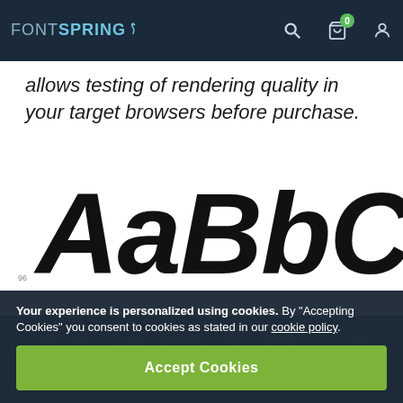FONTSPRING
allows testing of rendering quality in your target browsers before purchase.
[Figure (illustration): Large italic bold font specimen showing 'AaBbCcD' in black, cropped, with size label '96' on left side. Below that a darker background area with partially visible letters.]
Your experience is personalized using cookies. By “Accepting Cookies” you consent to cookies as stated in our cookie policy.
Accept Cookies